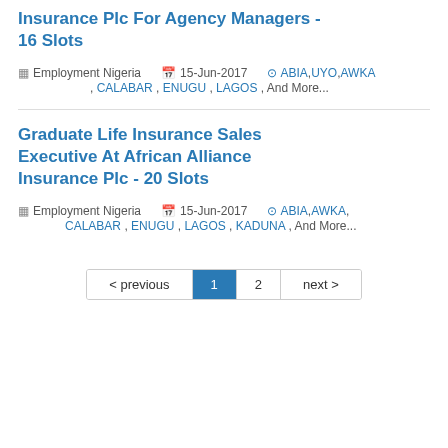Insurance Plc For Agency Managers - 16 Slots
Employment Nigeria   15-Jun-2017   ABIA , UYO , AWKA , CALABAR , ENUGU , LAGOS , And More...
Graduate Life Insurance Sales Executive At African Alliance Insurance Plc - 20 Slots
Employment Nigeria   15-Jun-2017   ABIA , AWKA , CALABAR , ENUGU , LAGOS , KADUNA , And More...
< previous   1   2   next >